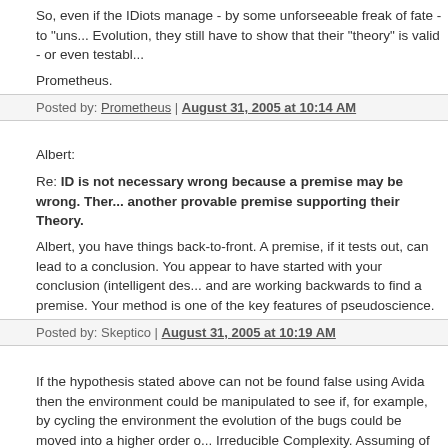So, even if the IDiots manage - by some unforseeable freak of fate - to "uns... Evolution, they still have to show that their "theory" is valid - or even testabl...
Prometheus.
Posted by: Prometheus | August 31, 2005 at 10:14 AM
Albert:
Re: ID is not necessary wrong because a premise may be wrong. Ther... another provable premise supporting their Theory.
Albert, you have things back-to-front. A premise, if it tests out, can lead to a conclusion. You appear to have started with your conclusion (intelligent des... and are working backwards to find a premise. Your method is one of the key features of pseudoscience.
Posted by: Skeptico | August 31, 2005 at 10:19 AM
If the hypothesis stated above can not be found false using Avida then the environment could be manipulated to see if, for example, by cycling the environment the evolution of the bugs could be moved into a higher order o... Irreducible Complexity. Assuming of course that Irreducibly Complex system... occur in the first place.